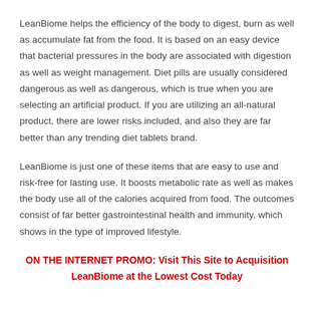LeanBiome helps the efficiency of the body to digest, burn as well as accumulate fat from the food. It is based on an easy device that bacterial pressures in the body are associated with digestion as well as weight management. Diet pills are usually considered dangerous as well as dangerous, which is true when you are selecting an artificial product. If you are utilizing an all-natural product, there are lower risks included, and also they are far better than any trending diet tablets brand.
LeanBiome is just one of these items that are easy to use and risk-free for lasting use. It boosts metabolic rate as well as makes the body use all of the calories acquired from food. The outcomes consist of far better gastrointestinal health and immunity, which shows in the type of improved lifestyle.
ON THE INTERNET PROMO: Visit This Site to Acquisition LeanBiome at the Lowest Cost Today